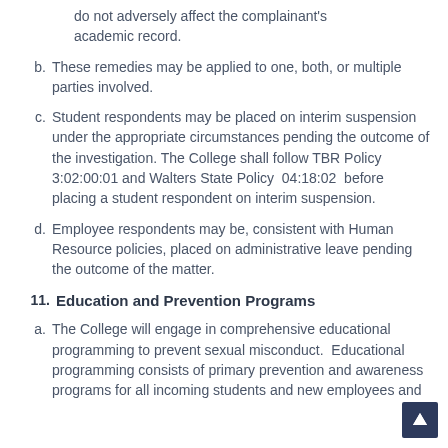do not adversely affect the complainant's academic record.
b. These remedies may be applied to one, both, or multiple parties involved.
c. Student respondents may be placed on interim suspension under the appropriate circumstances pending the outcome of the investigation. The College shall follow TBR Policy 3:02:00:01 and Walters State Policy  04:18:02  before placing a student respondent on interim suspension.
d. Employee respondents may be, consistent with Human Resource policies, placed on administrative leave pending the outcome of the matter.
11. Education and Prevention Programs
a. The College will engage in comprehensive educational programming to prevent sexual misconduct.  Educational programming consists of primary prevention and awareness programs for all incoming students and new employees and